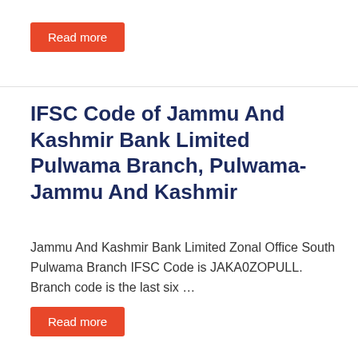Read more
IFSC Code of Jammu And Kashmir Bank Limited Pulwama Branch, Pulwama- Jammu And Kashmir
Jammu And Kashmir Bank Limited Zonal Office South Pulwama Branch IFSC Code is JAKA0ZOPULL. Branch code is the last six …
Read more